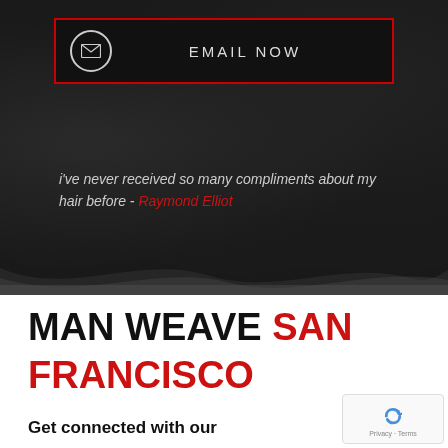[Figure (infographic): Email Now button with envelope icon inside a red-bordered rectangle on dark background]
i've never received so many compliments about my hair before - Raymond Elliot
MAN WEAVE SAN FRANCISCO
Get connected with our